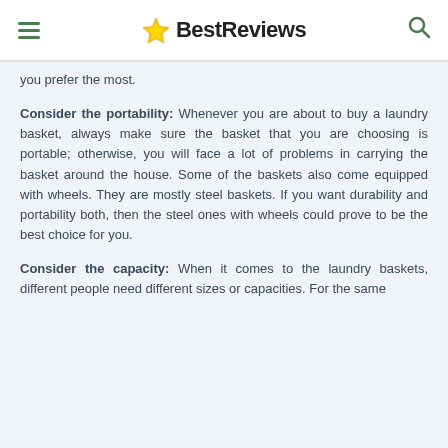BestReviews
you prefer the most.
Consider the portability: Whenever you are about to buy a laundry basket, always make sure the basket that you are choosing is portable; otherwise, you will face a lot of problems in carrying the basket around the house. Some of the baskets also come equipped with wheels. They are mostly steel baskets. If you want durability and portability both, then the steel ones with wheels could prove to be the best choice for you.
Consider the capacity: When it comes to the laundry baskets, different people need different sizes or capacities. For the same